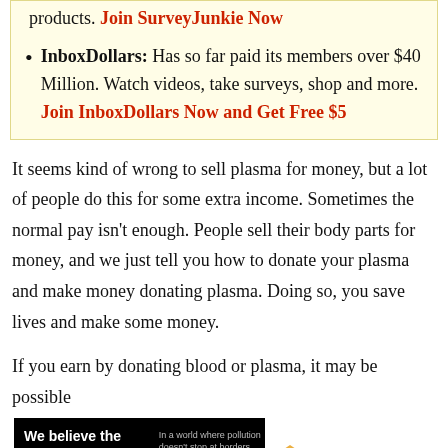products. Join SurveyJunkie Now
InboxDollars: Has so far paid its members over $40 Million. Watch videos, take surveys, shop and more. Join InboxDollars Now and Get Free $5
It seems kind of wrong to sell plasma for money, but a lot of people do this for some extra income. Sometimes the normal pay isn't enough. People sell their body parts for money, and we just tell you how to donate your plasma and make money donating plasma. Doing so, you save lives and make some money.
If you earn by donating blood or plasma, it may be possible
[Figure (infographic): Pure Earth advertisement banner: black background left section with text 'We believe the global pollution crisis can be solved.' Middle section with small text 'In a world where pollution doesn't stop at borders, we can all be part of the solution.' and 'JOIN US.' in yellow. Right section with Pure Earth logo on white background.]